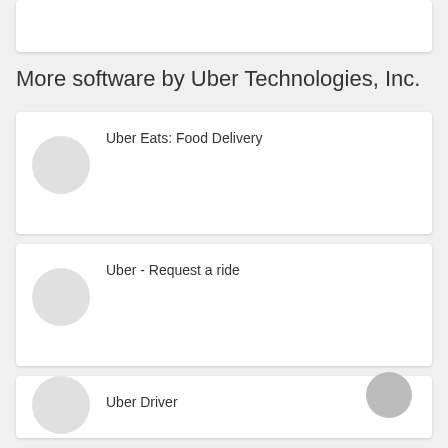[Figure (screenshot): Top partial card, white background, cut off at top]
More software by Uber Technologies, Inc.
Uber Eats: Food Delivery
Uber - Request a ride
Uber Driver